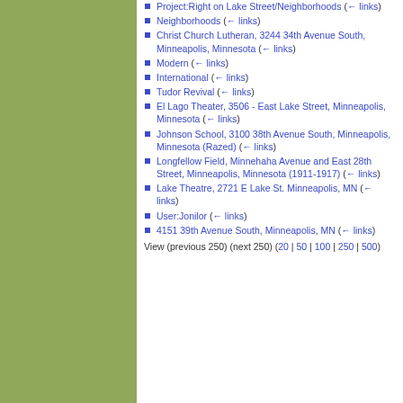Project:Right on Lake Street/Neighborhoods (← links)
Neighborhoods (← links)
Christ Church Lutheran, 3244 34th Avenue South, Minneapolis, Minnesota (← links)
Modern (← links)
International (← links)
Tudor Revival (← links)
El Lago Theater, 3506 - East Lake Street, Minneapolis, Minnesota (← links)
Johnson School, 3100 38th Avenue South, Minneapolis, Minnesota (Razed) (← links)
Longfellow Field, Minnehaha Avenue and East 28th Street, Minneapolis, Minnesota (1911-1917) (← links)
Lake Theatre, 2721 E Lake St. Minneapolis, MN (← links)
User:Jonilor (← links)
4151 39th Avenue South, Minneapolis, MN (← links)
View (previous 250) (next 250) (20 | 50 | 100 | 250 | 500)